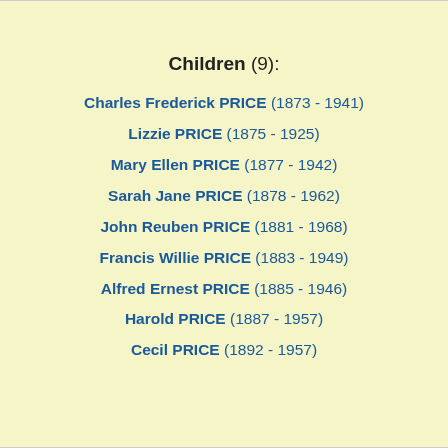Children (9):
Charles Frederick PRICE (1873 - 1941)
Lizzie PRICE (1875 - 1925)
Mary Ellen PRICE (1877 - 1942)
Sarah Jane PRICE (1878 - 1962)
John Reuben PRICE (1881 - 1968)
Francis Willie PRICE (1883 - 1949)
Alfred Ernest PRICE (1885 - 1946)
Harold PRICE (1887 - 1957)
Cecil PRICE (1892 - 1957)